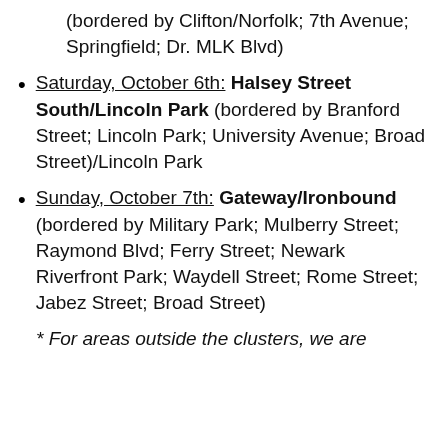(bordered by Clifton/Norfolk; 7th Avenue; Springfield; Dr. MLK Blvd)
Saturday, October 6th: Halsey Street South/Lincoln Park (bordered by Branford Street; Lincoln Park; University Avenue; Broad Street)/Lincoln Park
Sunday, October 7th: Gateway/Ironbound (bordered by Military Park; Mulberry Street; Raymond Blvd; Ferry Street; Newark Riverfront Park; Waydell Street; Rome Street; Jabez Street; Broad Street)
* For areas outside the clusters, we are
We use cookies to optimize our website and our service.
Accept
Cookie Policy  Privacy Statement
Share This